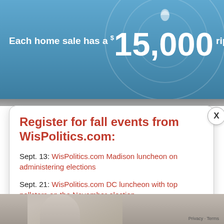[Figure (screenshot): Blue gradient banner background with text: Each home sale has a $15,000 ripple effect]
Register for fall events from WisPolitics.com:
Sept. 13: WisPolitics.com Madison luncheon on administering elections
Sept. 21: WisPolitics.com DC luncheon with top pollsters on the November election
Sept. 29: Annual WisPolitics.com Midwest Polling Summit
Oct. 18: WisPolitics.com Madison luncheon on top legislative races
[Figure (photo): Partial photo of a person visible at the bottom of the page, with Privacy · Terms text in lower right]